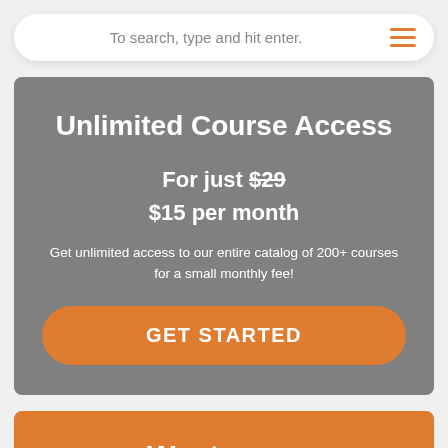To search, type and hit enter.
Unlimited Course Access
For just $29 $15 per month
Get unlimited access to our entire catalog of 200+ courses for a small monthly fee!
GET STARTED
Want more